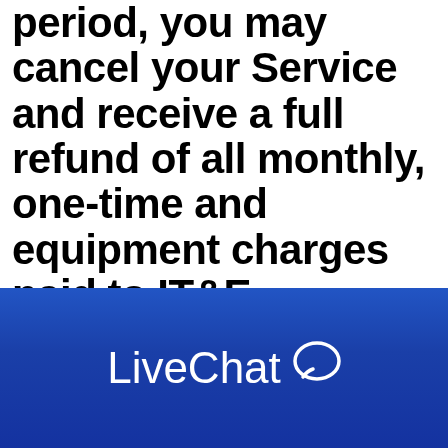period, you may cancel your Service and receive a full refund of all monthly, one-time and equipment charges paid to IT&E (provided you return all Equipment in good working condition). If you fail to return the Equipment, an unreturned Equipment fee will apply. ETFs will not apply to Service
LiveChat